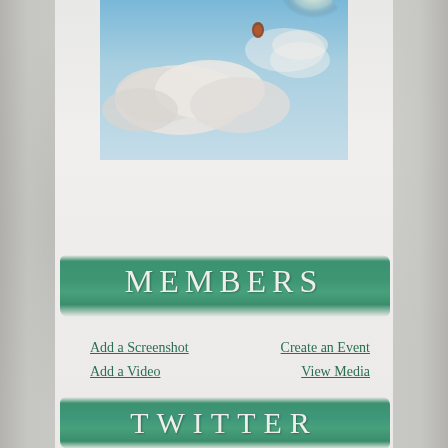[Figure (photo): Sky scene with white clouds and a small dark bird or balloon silhouette against blue sky with bright sunlight]
MEMBERS
Add a Screenshot   Create an Event
Add a Video           View Media
TWITTER